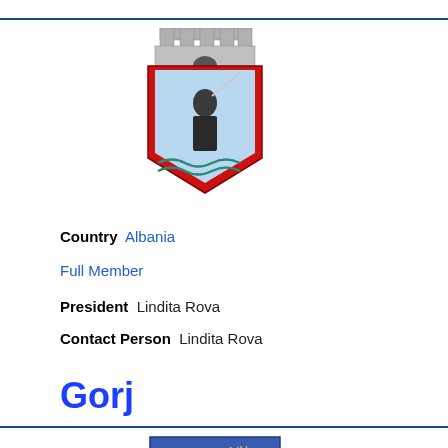[Figure (illustration): Coat of arms with castle battlements on top, a knight/figure in the center on a light blue background, with decorative wavy lines at the bottom, red border]
Country Albania
Full Member
President  Lindita Rova
Contact Person  Lindita Rova
Gorj
[Figure (illustration): Coat of arms with blue shield background and a deer/stag standing on it]